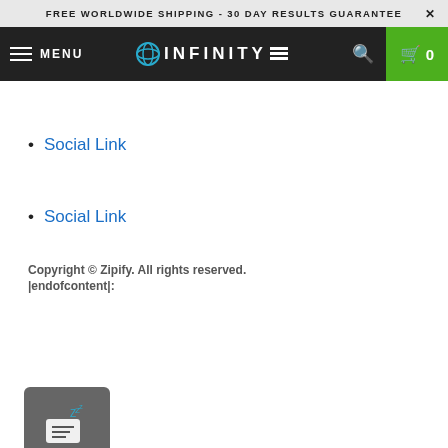FREE WORLDWIDE SHIPPING - 30 DAY RESULTS GUARANTEE ×
MENU  INFINITY  0
Social Link
Social Link
Copyright © Zipify. All rights reserved.
|endofcontent|:
[Figure (screenshot): Chat widget with sleep/message icon and arrow]